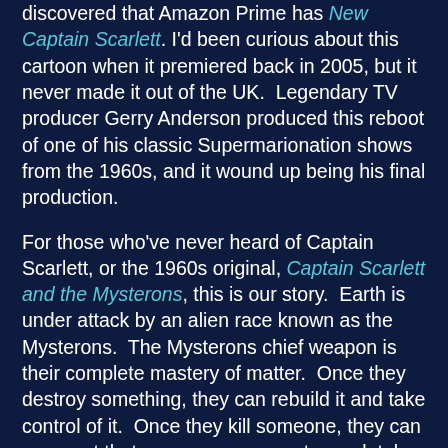discovered that Amazon Prime has New Captain Scarlett. I'd been curious about this cartoon when it premiered back in 2005, but it never made it out of the UK. Legendary TV producer Gerry Anderson produced this reboot of one of his classic Supermarionation shows from the 1960s, and it wound up being his final production.
For those who've never heard of Captain Scarlett, or the 1960s original, Captain Scarlett and the Mysterons, this is our story. Earth is under attack by an alien race known as the Mysterons. The Mysterons chief weapon is their complete mastery of matter. Once they destroy something, they can rebuild it and take control of it. Once they kill someone, they can resurrect that person as an agent completely loyal to the Mysteron cause.
Leading the fight against the Mysterons: Spectrum, a SHIELD-like organization. They even have a flying commander centre, Cloudbase (Skybase in the reboot), hovering at 40,000 feet above the Earth's surface. They have secret caches of weapons all across the globe. Their top agents have a code name based on a colour. And they